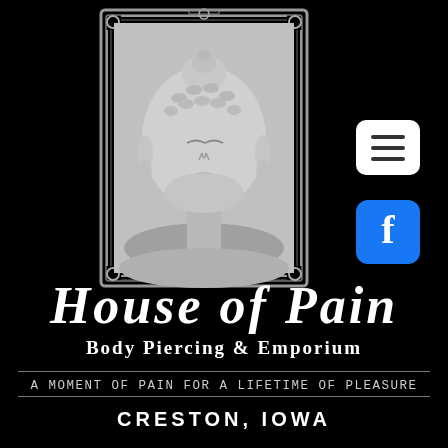[Figure (illustration): A white Buddha head sculpture displayed inside an ornate decorative frame/border on a black background, with a hamburger menu icon (white rounded square) and a Facebook icon (blue rounded square) to the right.]
House of Pain
Body Piercing & Emporium
A MOMENT OF PAIN FOR A LIFETIME OF PLEASURE
CRESTON, IOWA